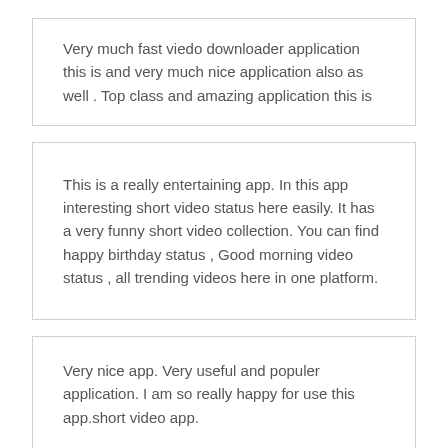Very much fast viedo downloader application this is and very much nice application also as well . Top class and amazing application this is
This is a really entertaining app. In this app interesting short video status here easily. It has a very funny short video collection. You can find happy birthday status , Good morning video status , all trending videos here in one platform.
Very nice app. Very useful and populer application. I am so really happy for use this app.short video app.
Likely is the one of the best application and so many best features avilable in this application and best app for the